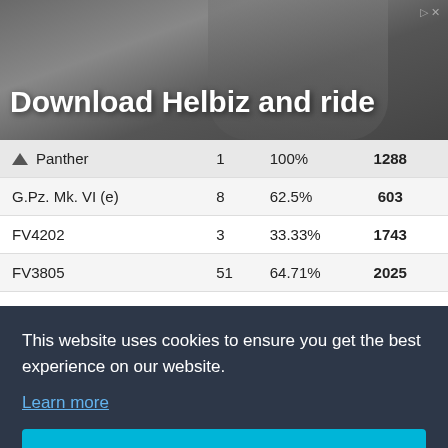[Figure (photo): Advertisement banner for Helbiz scooter app showing person riding a scooter in an urban setting]
Download Helbiz and ride
| Vehicle | Battles | Win% | Score |
| --- | --- | --- | --- |
| Panther | 1 | 100% | 1288 |
| G.Pz. Mk. VI (e) | 8 | 62.5% | 603 |
| FV4202 | 3 | 33.33% | 1743 |
| FV3805 | 51 | 64.71% | 2025 |
| FV304 | 85 | 58.82% | 2293 |
This website uses cookies to ensure you get the best experience on our website.
Learn more
Got it!